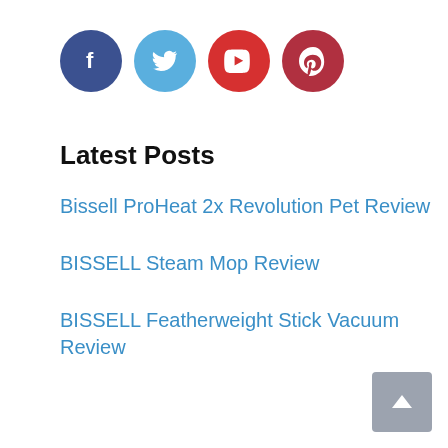[Figure (illustration): Four social media icons in circles: Facebook (dark blue), Twitter (light blue), YouTube (red), Pinterest (dark red)]
Latest Posts
Bissell ProHeat 2x Revolution Pet Review
BISSELL Steam Mop Review
BISSELL Featherweight Stick Vacuum Review